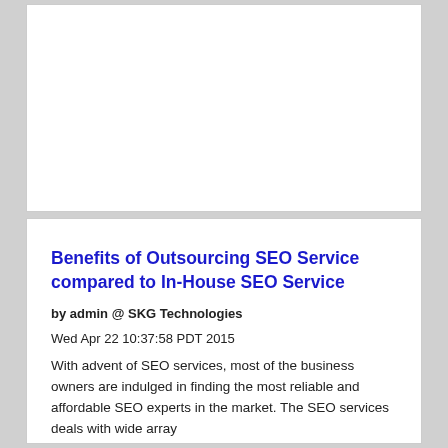[Figure (other): Empty white box / advertisement placeholder at top of page]
Benefits of Outsourcing SEO Service compared to In-House SEO Service
by admin @ SKG Technologies
Wed Apr 22 10:37:58 PDT 2015
With advent of SEO services, most of the business owners are indulged in finding the most reliable and affordable SEO experts in the market. The SEO services deals with wide array